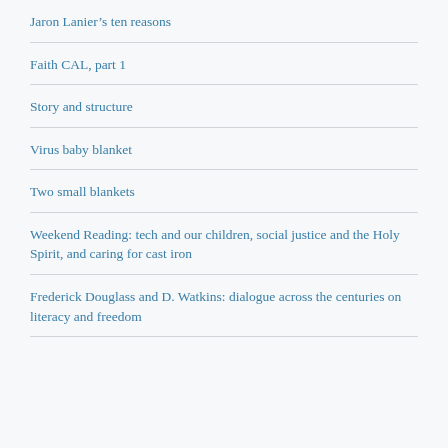Jaron Lanier’s ten reasons
Faith CAL, part 1
Story and structure
Virus baby blanket
Two small blankets
Weekend Reading: tech and our children, social justice and the Holy Spirit, and caring for cast iron
Frederick Douglass and D. Watkins: dialogue across the centuries on literacy and freedom